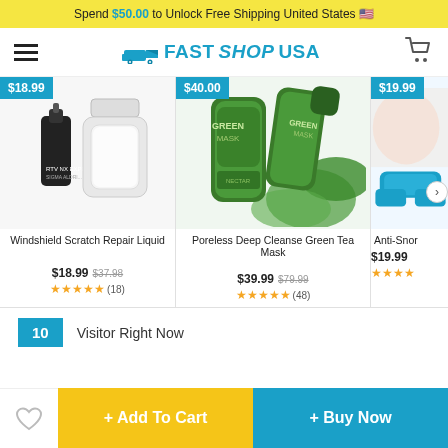Spend $50.00 to Unlock Free Shipping United States 🇺🇸
[Figure (logo): FastShopUSA logo with delivery truck icon and hamburger menu, cart icon]
[Figure (photo): Product card: Windshield Scratch Repair Liquid, price badge $18.99, product image, name, price $18.99 was $37.98, 5 stars (18 reviews)]
[Figure (photo): Product card: Poreless Deep Cleanse Green Tea Mask, price badge $40.00, product image, name, price $39.99 was $79.99, 5 stars (48 reviews)]
[Figure (photo): Product card: Anti-Snor (partially visible), price badge $19.99, product image partially visible, price $19.99, partial stars]
10 Visitor Right Now
+ Add To Cart
+ Buy Now